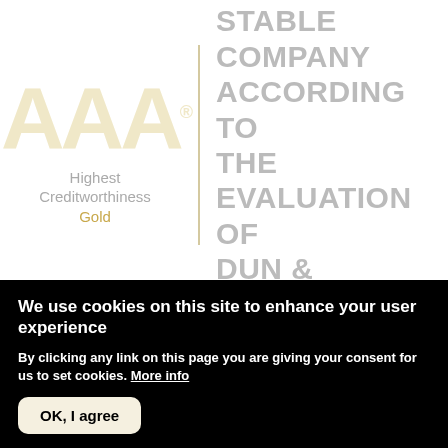[Figure (logo): AAA logo with 'Highest Creditworthiness Gold' label and a vertical divider line, alongside text 'FINANCIALLY STABLE COMPANY ACCORDING TO THE EVALUATION OF DUN & BRADSTREET']
We use cookies on this site to enhance your user experience
By clicking any link on this page you are giving your consent for us to set cookies. More info
OK, I agree